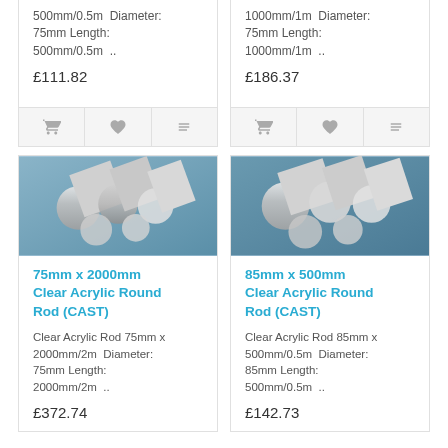500mm/0.5m  Diameter: 75mm Length: 500mm/0.5m  ..
£111.82
1000mm/1m  Diameter: 75mm Length: 1000mm/1m  ..
£186.37
[Figure (photo): Clear acrylic round rods bundled together, silver/translucent]
75mm x 2000mm Clear Acrylic Round Rod (CAST)
Clear Acrylic Rod 75mm x 2000mm/2m  Diameter: 75mm Length: 2000mm/2m  ..
£372.74
[Figure (photo): Clear acrylic round rods bundled together, silver/translucent with blue tint background]
85mm x 500mm Clear Acrylic Round Rod (CAST)
Clear Acrylic Rod 85mm x 500mm/0.5m  Diameter: 85mm Length: 500mm/0.5m  ..
£142.73